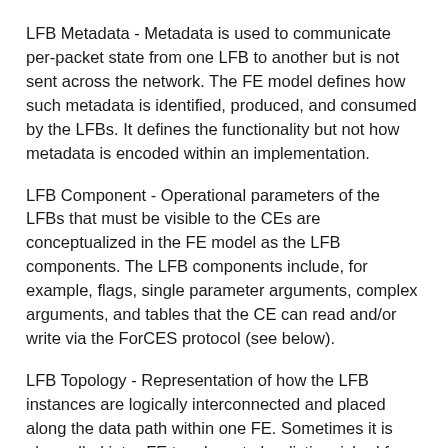LFB Metadata - Metadata is used to communicate per-packet state from one LFB to another but is not sent across the network. The FE model defines how such metadata is identified, produced, and consumed by the LFBs. It defines the functionality but not how metadata is encoded within an implementation.
LFB Component - Operational parameters of the LFBs that must be visible to the CEs are conceptualized in the FE model as the LFB components. The LFB components include, for example, flags, single parameter arguments, complex arguments, and tables that the CE can read and/or write via the ForCES protocol (see below).
LFB Topology - Representation of how the LFB instances are logically interconnected and placed along the data path within one FE. Sometimes it is also called intra-FE topology, to be distinguished from inter-FE topology.
Data Path - A conceptual path taken by packets within the forwarding plane inside an FE. Note that more than one